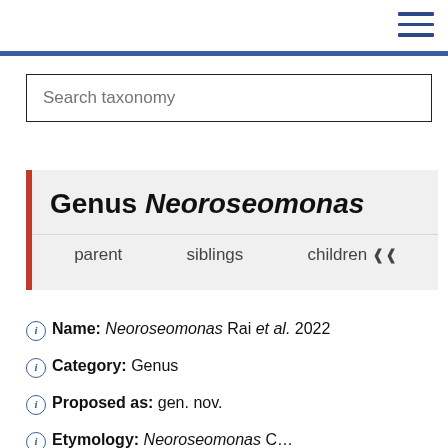Search taxonomy
Genus Neoroseomonas
parent   siblings   children
Name: Neoroseomonas Rai et al. 2022
Category: Genus
Proposed as: gen. nov.
Etymology: Neoroseomonas C...